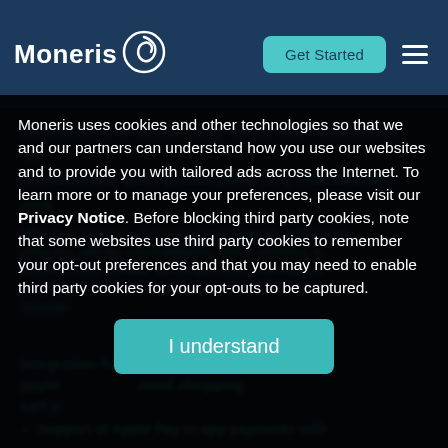Moneris — Get Started navigation header
committed to delivering tools and resources for businesses and developers in a convenient and effective manner. As part of the update, APIs and...
Moneris uses cookies and other technologies so that we and our partners can understand how you use our websites and to provide you with tailored ads across the Internet. To learn more or to manage your preferences, please visit our Privacy Notice. Before blocking third party cookies, note that some websites use third party cookies to remember your opt-out preferences and that you may need to enable third party cookies for your opt-outs to be captured.
I understand
Support of Apple Pay in-app payments with...